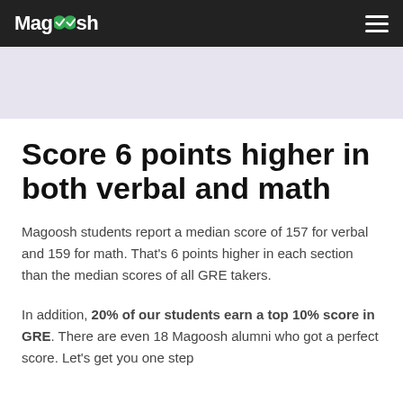Magoosh
[Figure (other): Light purple/lavender hero banner strip]
Score 6 points higher in both verbal and math
Magoosh students report a median score of 157 for verbal and 159 for math. That’s 6 points higher in each section than the median scores of all GRE takers.
In addition, 20% of our students earn a top 10% score in GRE. There are even 18 Magoosh alumni who got a perfect score. Let’s get you one step